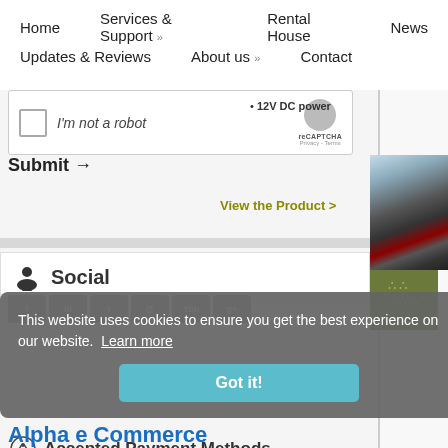Home   Services & Support »   Rental House   News   Updates & Reviews   About us »   Contact
[Figure (screenshot): reCAPTCHA widget with checkbox and 'I'm not a robot' label]
Submit →
12V DC power
View the Product >
Social
[Figure (screenshot): Cookie consent banner: 'This website uses cookies to ensure you get the best experience on our website. Learn more' with 'Got it!' button]
Accepted Payment Methods
Alpha e Commerce